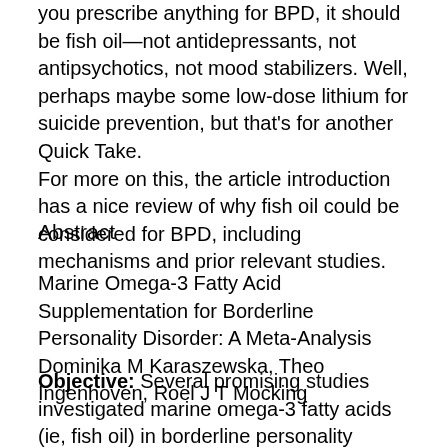you prescribe anything for BPD, it should be fish oil—not antidepressants, not antipsychotics, not mood stabilizers. Well, perhaps maybe some low-dose lithium for suicide prevention, but that's for another Quick Take. For more on this, the article introduction has a nice review of why fish oil could be considered for BPD, including mechanisms and prior relevant studies.
Abstract
Marine Omega-3 Fatty Acid Supplementation for Borderline Personality Disorder: A Meta-Analysis Dominika M Karaszewska, Theo Ingenhoven, Roel J T Mocking
Objective: Several promising studies investigated marine omega-3 fatty acids (ie, fish oil) in borderline personality disorder (BPD), but overall effects remain unclear. The aim of this study was to obtain estimates of effect sizes of...